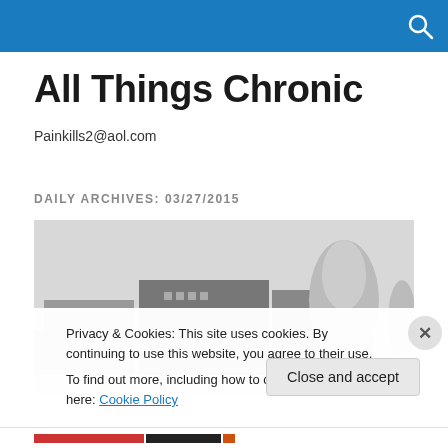All Things Chronic
Painkills2@aol.com
DAILY ARCHIVES: 03/27/2015
[Figure (photo): Black and white photograph of low-rise buildings with a snow-covered evergreen tree in the background under a grey sky]
Privacy & Cookies: This site uses cookies. By continuing to use this website, you agree to their use.
To find out more, including how to control cookies, see here: Cookie Policy
Close and accept